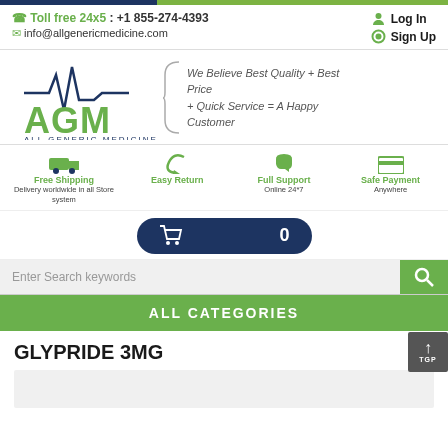Toll free 24x5 : +1 855-274-4393 | info@allgenericmedicine.com | Log In | Sign Up
[Figure (logo): AGM All Generic Medicine logo with heartbeat line graphic and tagline: We Believe Best Quality + Best Price + Quick Service = A Happy Customer]
Free Shipping - Delivery worldwide in all Store system | Easy Return | Full Support - Online 24*7 | Safe Payment - Anywhere
Cart 0
Enter Search keywords
ALL CATEGORIES
GLYPRIDE 3MG